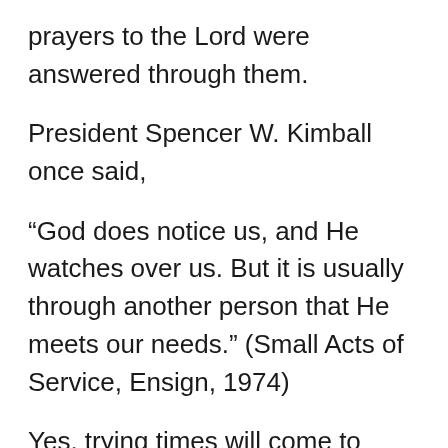prayers to the Lord were answered through them.
President Spencer W. Kimball once said,
“God does notice us, and He watches over us. But it is usually through another person that He meets our needs.” (Small Acts of Service, Ensign, 1974)
Yes, trying times will come to people around us and there will be moments when you feel like saying “I do not know how to ease their pain!” Of course, we do not all have the power to do that. But, there are ways we can comfort someone